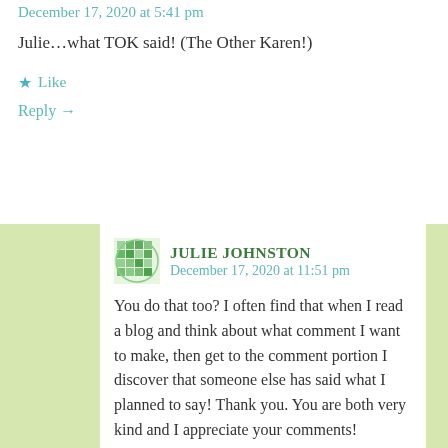December 17, 2020 at 5:41 pm
Julie…what TOK said! (The Other Karen!)
★ Like
Reply →
JULIE JOHNSTON
December 17, 2020 at 11:51 pm
You do that too? I often find that when I read a blog and think about what comment I want to make, then get to the comment portion I discover that someone else has said what I planned to say! Thank you. You are both very kind and I appreciate your comments!